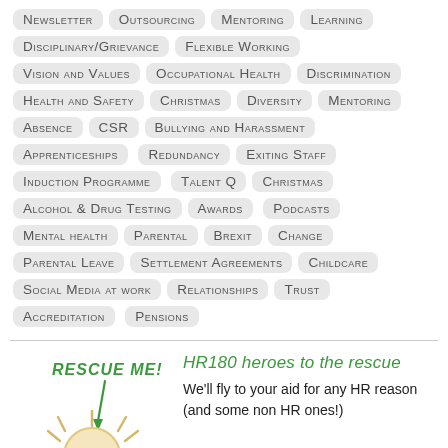Newsletter Outsourcing Mentoring Learning Disciplinary/Grievance Flexible Working Vision and Values Occupational Health Discrimination Health and Safety Christmas Diversity Mentoring Absence CSR Bullying and Harassment Apprenticeships Redundancy Exiting Staff Induction Programme Talent Q Christmas Alcohol & Drug Testing Awards Podcasts Mental health Parental Brexit Change Parental Leave Settlement Agreements Childcare Social Media at work Relationships Trust Accreditation Pensions
[Figure (illustration): Cartoon sun character with 'Rescue Me!' text and arrow, in green hand-drawn style]
HR180 heroes to the rescue
We'll fly to your aid for any HR reason (and some non HR ones!)